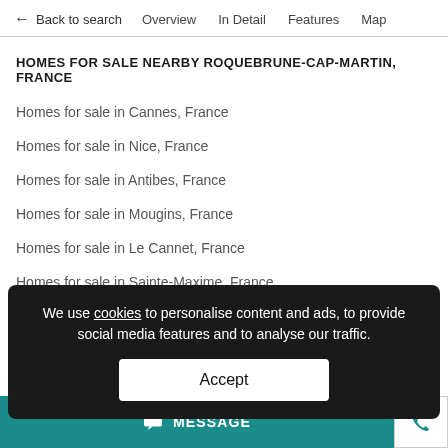← Back to search   Overview   In Detail   Features   Map
HOMES FOR SALE NEARBY ROQUEBRUNE-CAP-MARTIN, FRANCE
Homes for sale in Cannes, France
Homes for sale in Nice, France
Homes for sale in Antibes, France
Homes for sale in Mougins, France
Homes for sale in Le Cannet, France
Homes for sale in Sainte-Maxime, France
Homes for sale in Vallauris, France
Homes for sale in Beaus...
We use cookies to personalise content and ads, to provide social media features and to analyse our traffic. Accept
SHOW MORE ↓↓
MESSAGE